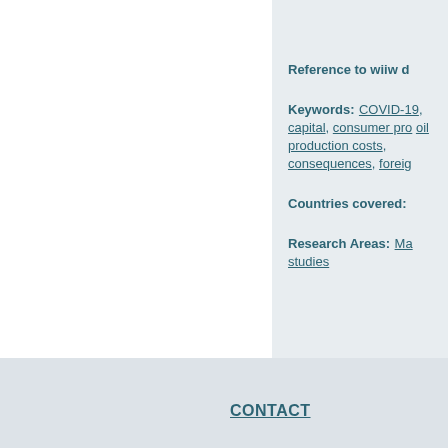Reference to wiiw d
Keywords: COVID-19, capital, consumer pro, oil production costs, consequences, foreig
Countries covered:
Research Areas: Ma studies
CONTACT